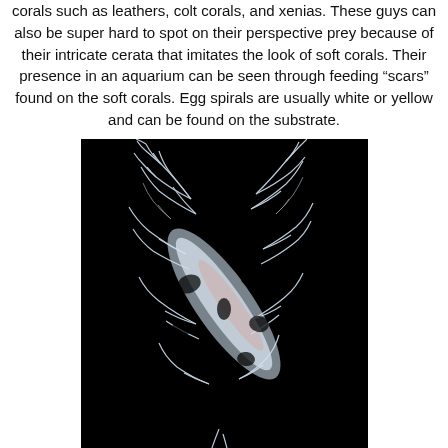corals such as leathers, colt corals, and xenias. These guys can also be super hard to spot on their perspective prey because of their intricate cerata that imitates the look of soft corals. Their presence in an aquarium can be seen through feeding “scars” found on the soft corals. Egg spirals are usually white or yellow and can be found on the substrate.
[Figure (photo): Close-up photo of a nudibranch with intricate white branching cerata resembling soft coral, photographed against a black background.]
[Figure (photo): Two smaller photos at the bottom showing nudibranchs or soft coral structures against black backgrounds, side by side.]